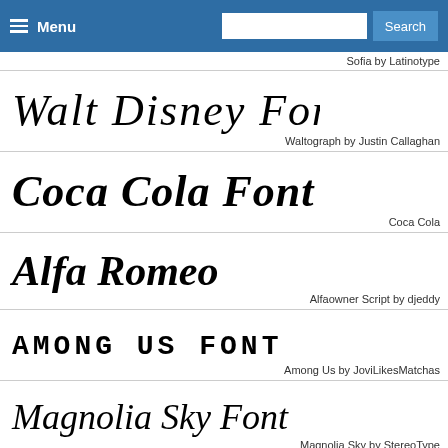[Figure (screenshot): Navigation bar with hamburger menu icon, 'Menu' text, search input box, and 'Search' button on blue background]
Sofia by Latinotype
[Figure (illustration): Walt Disney Font displayed in Disney-style script lettering]
Waltograph by Justin Callaghan
[Figure (illustration): Coca Cola Font displayed in Coca-Cola-style script lettering]
Coca Cola
[Figure (illustration): Alfa Romeo displayed in bold italic script lettering]
Alfaowner Script by djeddy
[Figure (illustration): Among Us Font displayed in chunky rounded monospace lettering]
Among Us by JoviLikesMatchas
[Figure (illustration): Magnolia Sky Font displayed in handwritten script lettering]
Magnolia Sky by StereoType
[Figure (illustration): Peppa Pig text in bold font with Peppa Pig character illustration]
Penna Pig by KiddieFonts